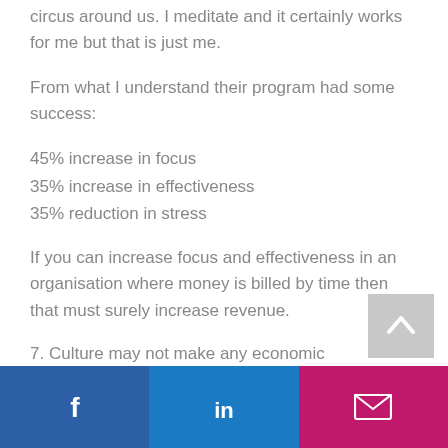circus around us. I meditate and it certainly works for me but that is just me.
From what I understand their program had some success:
45% increase in focus
35% increase in effectiveness
35% reduction in stress
If you can increase focus and effectiveness in an organisation where money is billed by time then that must surely increase revenue.
7. Culture may not make any economic
[Figure (infographic): Social sharing footer bar with Facebook, LinkedIn, and email icons on colored backgrounds (blue, blue, magenta). A grey back-to-top button with upward chevron is above the bar.]